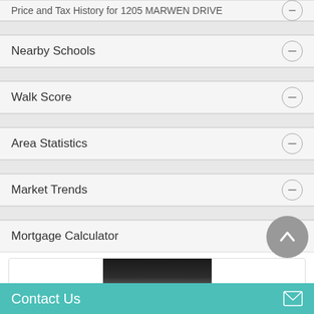Price and Tax History for 1205 MARWEN DRIVE
Nearby Schools
Walk Score
Area Statistics
Market Trends
Mortgage Calculator
[Figure (photo): Agent headshot photo of a bald man against dark background]
Contact Us